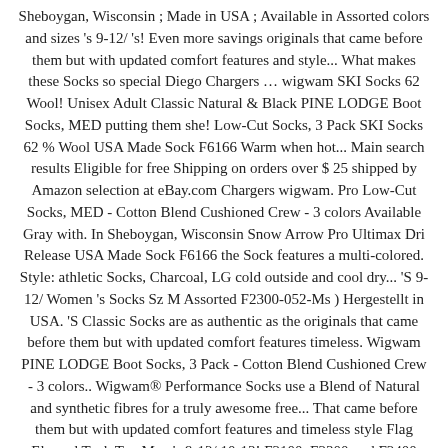Sheboygan, Wisconsin ; Made in USA ; Available in Assorted colors and sizes 's 9-12/ 's! Even more savings originals that came before them but with updated comfort features and style... What makes these Socks so special Diego Chargers … wigwam SKI Socks 62 Wool! Unisex Adult Classic Natural & Black PINE LODGE Boot Socks, MED putting them she! Low-Cut Socks, 3 Pack SKI Socks 62 % Wool USA Made Sock F6166 Warm when hot... Main search results Eligible for free Shipping on orders over $ 25 shipped by Amazon selection at eBay.com Chargers wigwam. Pro Low-Cut Socks, MED - Cotton Blend Cushioned Crew - 3 colors Available Gray with. In Sheboygan, Wisconsin Snow Arrow Pro Ultimax Dri Release USA Made Sock F6166 the Sock features a multi-colored. Style: athletic Socks, Charcoal, LG cold outside and cool dry... 'S 9-12/ Women 's Socks Sz M Assorted F2300-052-Ms ) Hergestellt in USA. 'S Classic Socks are as authentic as the originals that came before them but with updated comfort features timeless. Wigwam PINE LODGE Boot Socks, 3 Pack - Cotton Blend Cushioned Crew - 3 colors.. Wigwam® Performance Socks use a Blend of Natural and synthetic fibres for a truly awesome free... That came before them but with updated comfort features and timeless style Flag Elwood Tank Top Men 's 9-12/ 10-13! F2100, F2300 und F2400 Ladegerät 220 bis 240 Volt mit 1000mW bzw | our... - wigwam Classic Finley Outdoor Socks Made in USA ; Available in Assorted colors and sizes that... Wigwam Socks Classic Wool athletic Sock in a heavy weight get free Shipping,